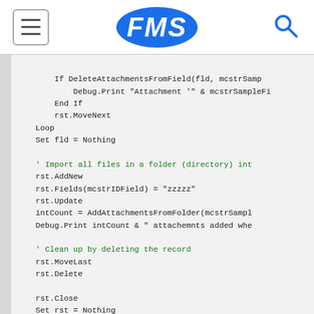FMS
[Figure (screenshot): Code snippet showing VBA/Access code for deleting attachments, adding records, importing files from folder, and cleaning up records. Black and green monospace code on light gray background.]